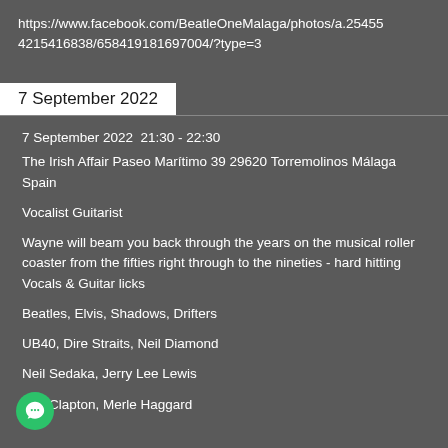https://www.facebook.com/BeatleOneMalaga/photos/a.254554215416838/658419181697004/?type=3
7 September 2022
7 September 2022  21:30 - 22:30
The Irish Affair Paseo Marítimo 39 29620 Torremolinos Málaga Spain
Vocalist Guitarist
Wayne will beam you back through the years on the musical roller coaster from the fifties right through to the nineties - hard hitting Vocals & Guitar licks
Beatles, Elvis, Shadows, Drifters
UB40, Dire Straits, Neil Diamond
Neil Sedaka, Jerry Lee Lewis
Eric Clapton, Merle Haggard